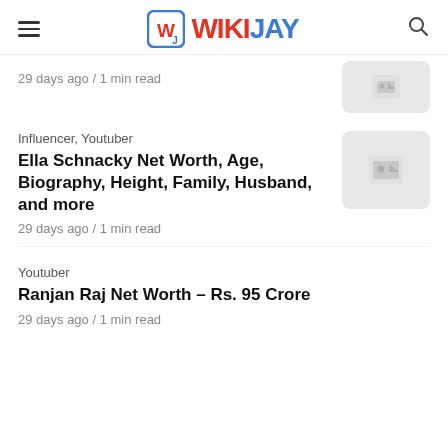WIKIJAY
29 days ago / 1 min read
Influencer, Youtuber
Ella Schnacky Net Worth, Age, Biography, Height, Family, Husband, and more
29 days ago / 1 min read
Youtuber
Ranjan Raj Net Worth – Rs. 95 Crore
29 days ago / 1 min read